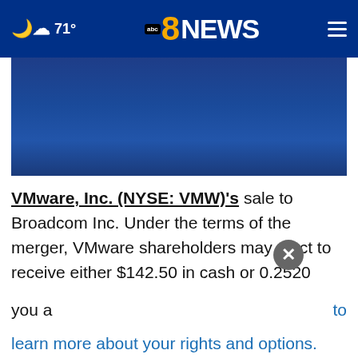🌙☁ 71° | abc8NEWS
[Figure (screenshot): Blue image/video area partially visible below the navigation bar]
VMware, Inc. (NYSE: VMW)'s sale to Broadcom Inc. Under the terms of the merger, VMware shareholders may elect to receive either $142.50 in cash or 0.2520 shares of Broadcom common stock for each share of VMware they own. The shareholder election is subject to proration. If you a[re …] to learn more about your rights and options.